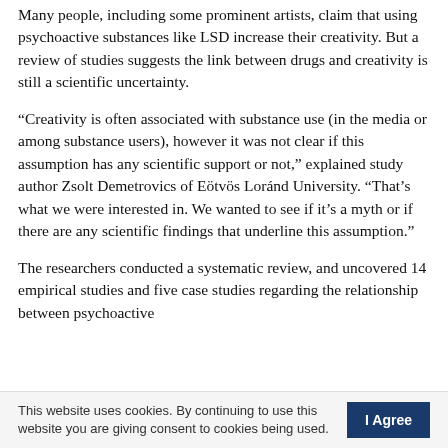Many people, including some prominent artists, claim that using psychoactive substances like LSD increase their creativity. But a review of studies suggests the link between drugs and creativity is still a scientific uncertainty.
“Creativity is often associated with substance use (in the media or among substance users), however it was not clear if this assumption has any scientific support or not,” explained study author Zsolt Demetrovics of Eötvös Loránd University. “That’s what we were interested in. We wanted to see if it’s a myth or if there are any scientific findings that underline this assumption.”
The researchers conducted a systematic review, and uncovered 14 empirical studies and five case studies regarding the relationship between psychoactive
This website uses cookies. By continuing to use this website you are giving consent to cookies being used.